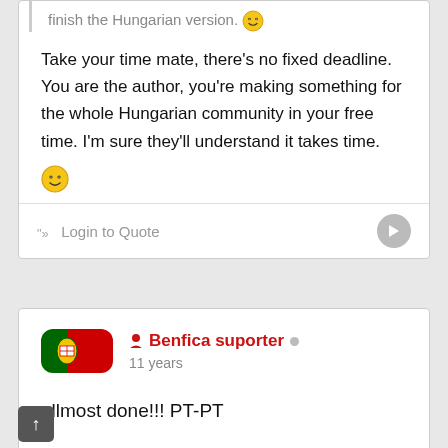finish the Hungarian version. 😊
Take your time mate, there's no fixed deadline. You are the author, you're making something for the whole Hungarian community in your free time. I'm sure they'll understand it takes time. 😊
" " Login to Quote
[Figure (screenshot): User profile section for Benfica suporter with Portuguese flag avatar, username in red, and 11 years member duration]
allmost done!!! PT-PT
" " Login to Quote